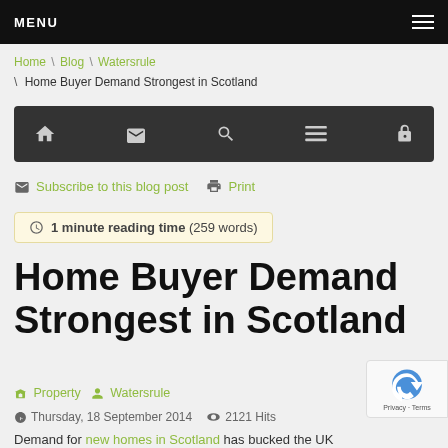MENU
Home \ Blog \ Watersrule \ Home Buyer Demand Strongest in Scotland
[Figure (screenshot): Dark navigation icon bar with home, envelope, search, menu, and lock icons]
Subscribe to this blog post   Print
1 minute reading time (259 words)
Home Buyer Demand Strongest in Scotland
Property   Watersrule   Thursday, 18 September 2014   2121 Hits
Demand for new homes in Scotland has bucked the UK